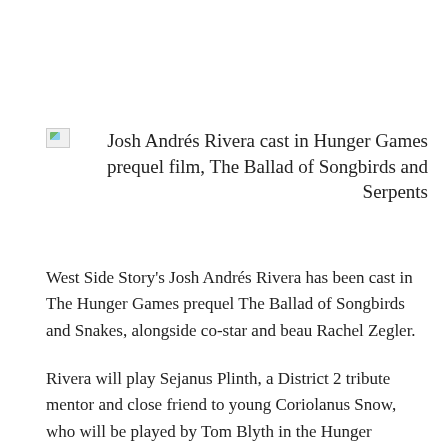Josh Andrés Rivera cast in Hunger Games prequel film, The Ballad of Songbirds and Serpents
West Side Story's Josh Andrés Rivera has been cast in The Hunger Games prequel The Ballad of Songbirds and Snakes, alongside co-star and beau Rachel Zegler.
Rivera will play Sejanus Plinth, a District 2 tribute mentor and close friend to young Coriolanus Snow, who will be played by Tom Blyth in the Hunger Games prequel film, The Hollywood